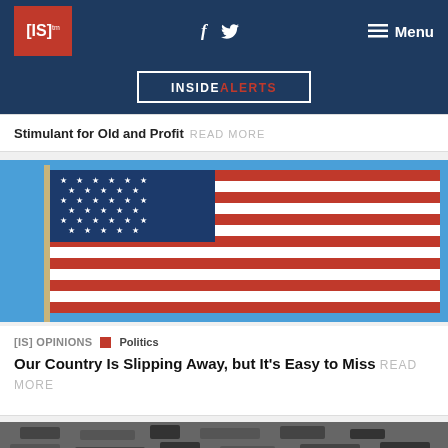[IS]™  f  [twitter]  Menu
INSIDE ALERTS
Stimulant for old and Profit READ MORE
[Figure (photo): American flag waving against a clear blue sky, showing stars and red/white stripes.]
[IS] OPINIONS  ■  Politics
Our Country Is Slipping Away, but It's Easy to Miss READ MORE
[Figure (photo): Black and white image partially visible at the bottom of the page.]